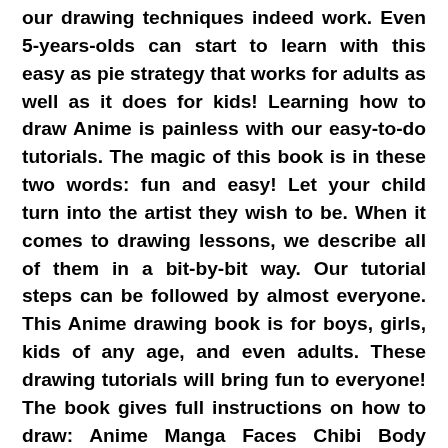our drawing techniques indeed work. Even 5-years-olds can start to learn with this easy as pie strategy that works for adults as well as it does for kids! Learning how to draw Anime is painless with our easy-to-do tutorials. The magic of this book is in these two words: fun and easy! Let your child turn into the artist they wish to be. When it comes to drawing lessons, we describe all of them in a bit-by-bit way. Our tutorial steps can be followed by almost everyone. This Anime drawing book is for boys, girls, kids of any age, and even adults. These drawing tutorials will bring fun to everyone! The book gives full instructions on how to draw: Anime Manga Faces Chibi Body Anime Eyes Anime Hair Comics Anime Girls Anime Boys and these are not all! Our detailed guides will teach you how to draw Anime using various templates, lines, and shapes. Buy it as a gift or as a treat for yourself. Do not be turned off thinking there are only easier Anime drawings. You will also find some of the harder ones. Frequently Asked Questions Does learning